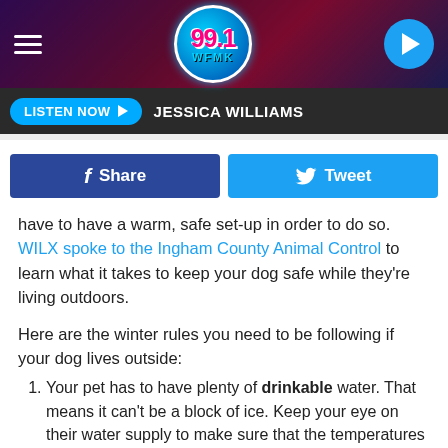[Figure (screenshot): 99.1 WFMK radio station header bar with hamburger menu, logo, and play button]
LISTEN NOW ▶  JESSICA WILLIAMS
[Figure (screenshot): Share and Tweet social media buttons]
have to have a warm, safe set-up in order to do so. WILX spoke to the Ingham County Animal Control to learn what it takes to keep your dog safe while they're living outdoors.
Here are the winter rules you need to be following if your dog lives outside:
Your pet has to have plenty of drinkable water. That means it can't be a block of ice. Keep your eye on their water supply to make sure that the temperatures aren't freezing your pet's drinking water.
Make sure your pet's shelter is appropriate for them. That means it has to be the right size, it has to have a